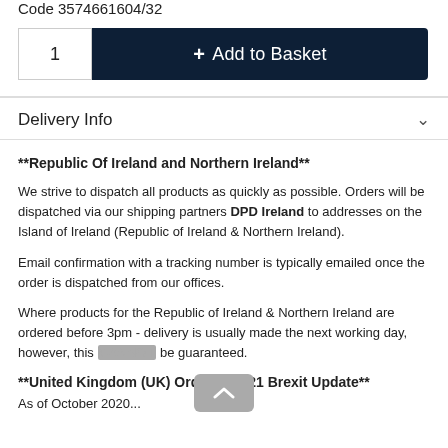Code 3574661604/32
1  + Add to Basket
Delivery Info
**Republic Of Ireland and Northern Ireland**
We strive to dispatch all products as quickly as possible. Orders will be dispatched via our shipping partners DPD Ireland to addresses on the Island of Ireland (Republic of Ireland & Northern Ireland).
Email confirmation with a tracking number is typically emailed once the order is dispatched from our offices.
Where products for the Republic of Ireland & Northern Ireland are ordered before 3pm - delivery is usually made the next working day, however, this CANNOT be guaranteed.
**United Kingdom (UK) Orders - 2021 Brexit Update**
As of October 2020...